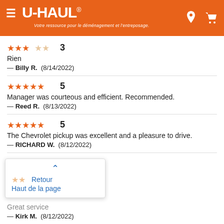U-HAUL® — Votre ressource pour le déménagement et l'entreposage.
3 stars — 3
Rien
— Billy R. (8/14/2022)
5 stars — 5
Manager was courteous and efficient. Recommended.
— Reed R. (8/13/2022)
5 stars — 5
The Chevrolet pickup was excellent and a pleasure to drive.
— RICHARD W. (8/12/2022)
[Figure (screenshot): Popup overlay showing a back-to-top button with upward chevron, two orange stars, and links: 'Retour' and 'Haut de la page' in blue]
2 stars — Great service
— Kirk M. (8/12/2022)